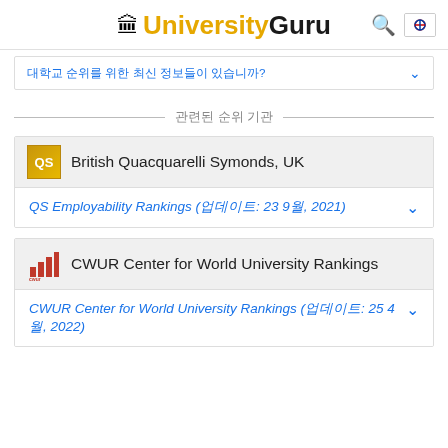UniversityGuru
대학교 순위를 위한 최신 정보들이 있습니까?
관련된 순위 기관
British Quacquarelli Symonds, UK
QS Employability Rankings (업데이트: 23 9월, 2021)
CWUR Center for World University Rankings
CWUR Center for World University Rankings (업데이트: 25 4월, 2022)